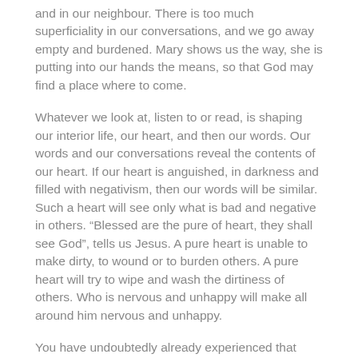and in our neighbour. There is too much superficiality in our conversations, and we go away empty and burdened. Mary shows us the way, she is putting into our hands the means, so that God may find a place where to come.
Whatever we look at, listen to or read, is shaping our interior life, our heart, and then our words. Our words and our conversations reveal the contents of our heart. If our heart is anguished, in darkness and filled with negativism, then our words will be similar. Such a heart will see only what is bad and negative in others. “Blessed are the pure of heart, they shall see God”, tells us Jesus. A pure heart is unable to make dirty, to wound or to burden others. A pure heart will try to wipe and wash the dirtiness of others. Who is nervous and unhappy will make all around him nervous and unhappy.
You have undoubtedly already experienced that some